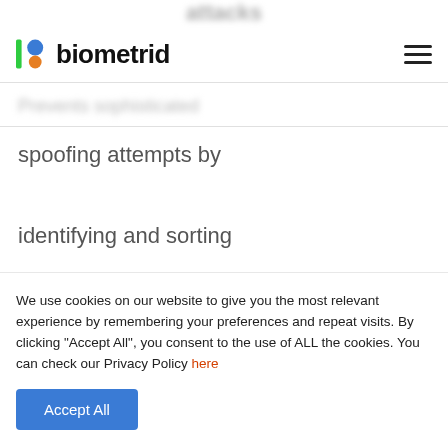attacks
[Figure (logo): Biometrid logo with colorful icon and text 'biometrid']
Prevents sophisticated spoofing attempts by identifying and sorting recaptured versions of a person from a live and genuine session.
We use cookies on our website to give you the most relevant experience by remembering your preferences and repeat visits. By clicking "Accept All", you consent to the use of ALL the cookies. You can check our Privacy Policy here
Accept All